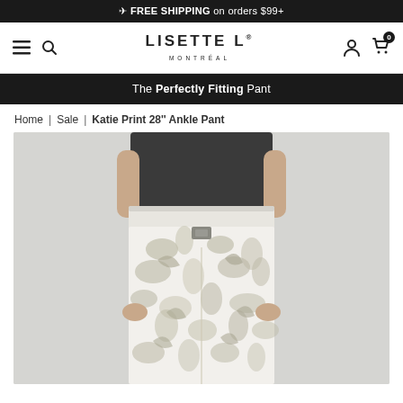FREE SHIPPING on orders $99+
[Figure (logo): Lisette L Montreal brand logo with navigation icons (hamburger menu, search, user account, cart with 0 items)]
The Perfectly Fitting Pant
Home | Sale | Katie Print 28'' Ankle Pant
[Figure (photo): Product photo of a woman wearing white floral/botanical print ankle pants (Katie Print 28'' Ankle Pant) with a dark top, cropped to show waist to mid-shin area]